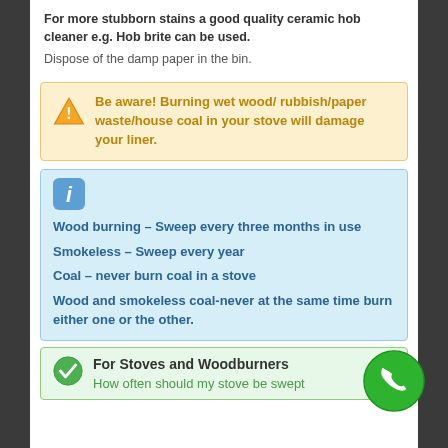For more stubborn stains a good quality ceramic hob cleaner e.g. Hob brite can be used.
Dispose of the damp paper in the bin.
Be aware! Burning wet wood/ rubbish/paper waste/house coal in your stove will damage your liner.
Wood burning – Sweep every three months in use
Smokeless – Sweep every year
Coal – never burn coal in a stove
Wood and smokeless coal-never at the same time burn either one or the other.
For Stoves and Woodburners
How often should my stove be swept